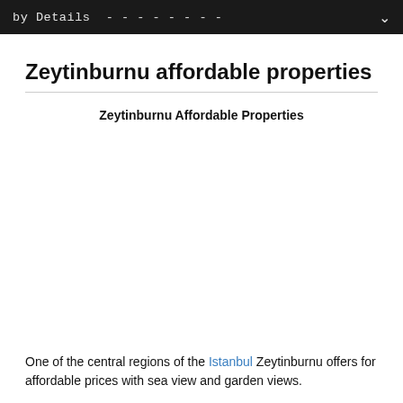by Details - - - - - - - -
Zeytinburnu affordable properties
Zeytinburnu Affordable Properties
One of the central regions of the Istanbul Zeytinburnu offers for affordable prices with sea view and garden views.